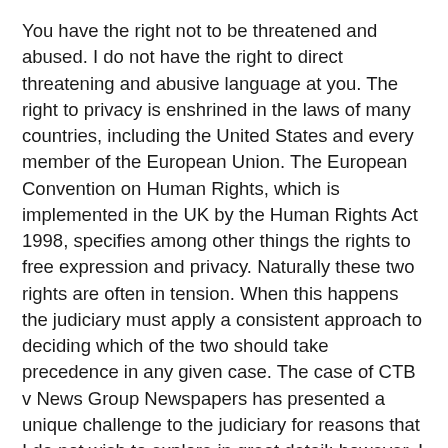You have the right not to be threatened and abused. I do not have the right to direct threatening and abusive language at you. The right to privacy is enshrined in the laws of many countries, including the United States and every member of the European Union. The European Convention on Human Rights, which is implemented in the UK by the Human Rights Act 1998, specifies among other things the rights to free expression and privacy. Naturally these two rights are often in tension. When this happens the judiciary must apply a consistent approach to deciding which of the two should take precedence in any given case. The case of CTB v News Group Newspapers has presented a unique challenge to the judiciary for reasons that I do not wish to explore in great detail; however, I want to talk about this case in particular because I have a view of privacy that seems to differ sharply from the judiciary in this country and in Strasbourg. Quite to my surprise, my view of privacy also seems to differ from some of my friends who otherwise have very similar views to my own where free speech is concerned. Before I go any further, let's look at the text of Article 8 of the ECHR which is implemented in HRA98: